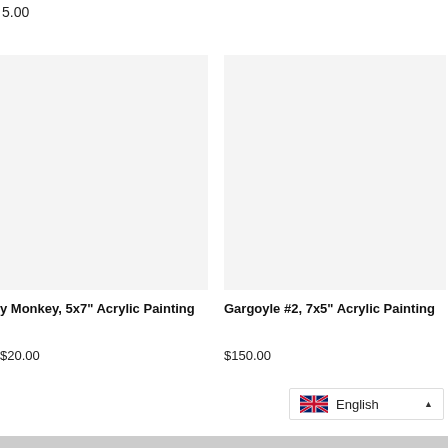5.00
[Figure (photo): Product image placeholder (light gray rectangle) for a Monkey 5x7 inch Acrylic Painting]
y Monkey, 5x7" Acrylic Painting
$20.00
[Figure (photo): Product image placeholder (light gray rectangle) for Gargoyle #2 7x5 inch Acrylic Painting]
Gargoyle #2, 7x5" Acrylic Painting
$150.00
English